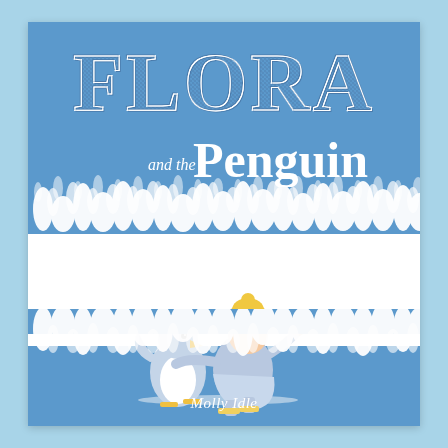[Figure (illustration): Book cover of 'Flora and the Penguin' by Molly Idle. Light blue background border framing a white-bordered book cover. The cover features a cornflower blue upper section with the title 'FLORA' in large decorative patterned letters, and 'and the Penguin' below in white text. White snowflake/lace border decorates the transition between blue and white sections. In the white center, a girl in a light blue outfit and yellow hat skates alongside a penguin. A matching snowflake border and blue section appear at the bottom with the author name 'Molly Idle'.]
FLORA and the Penguin
Molly Idle